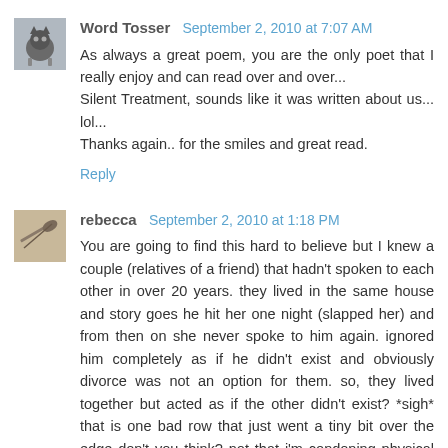Word Tosser  September 2, 2010 at 7:07 AM
As always a great poem, you are the only poet that I really enjoy and can read over and over...
Silent Treatment, sounds like it was written about us... lol...
Thanks again.. for the smiles and great read.
Reply
rebecca  September 2, 2010 at 1:18 PM
You are going to find this hard to believe but I knew a couple (relatives of a friend) that hadn't spoken to each other in over 20 years. they lived in the same house and story goes he hit her one night (slapped her) and from then on she never spoke to him again. ignored him completely as if he didn't exist and obviously divorce was not an option for them. so, they lived together but acted as if the other didn't exist? *sigh* that is one bad row that just went a tiny bit over the edge don't you think? not that i'm condoning physical abuse, no way, but end it, go to couple's therapy, whatever, but continue living together like that? yikes! but i